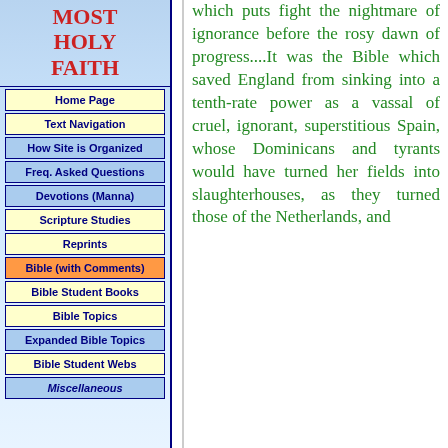MOST HOLY FAITH
Home Page
Text Navigation
How Site is Organized
Freq. Asked Questions
Devotions (Manna)
Scripture Studies
Reprints
Bible (with Comments)
Bible Student Books
Bible Topics
Expanded Bible Topics
Bible Student Webs
Miscellaneous
which puts fight the nightmare of ignorance before the rosy dawn of progress....It was the Bible which saved England from sinking into a tenth-rate power as a vassal of cruel, ignorant, superstitious Spain, whose Dominicans and tyrants would have turned her fields into slaughterhouses, as they turned those of the Netherlands, and